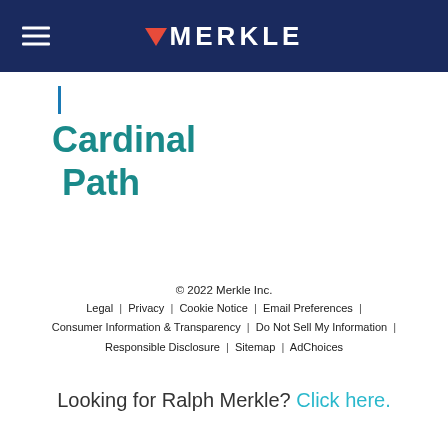[Figure (logo): Merkle logo with hamburger menu on dark navy header background. Arrow chevron icon in red/orange to the left of MERKLE text in white.]
Cardinal Path
© 2022 Merkle Inc. | Legal | Privacy | Cookie Notice | Email Preferences | Consumer Information & Transparency | Do Not Sell My Information | Responsible Disclosure | Sitemap | AdChoices
Looking for Ralph Merkle? Click here.